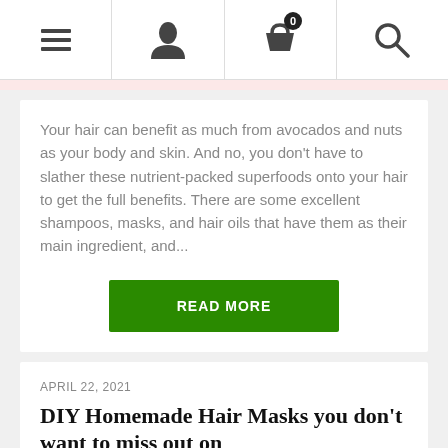Navigation bar with menu, user, cart (0), and search icons
Your hair can benefit as much from avocados and nuts as your body and skin. And no, you don't have to slather these nutrient-packed superfoods onto your hair to get the full benefits. There are some excellent shampoos, masks, and hair oils that have them as their main ingredient, and...
READ MORE
APRIL 22, 2021
DIY Homemade Hair Masks you don't want to miss out on